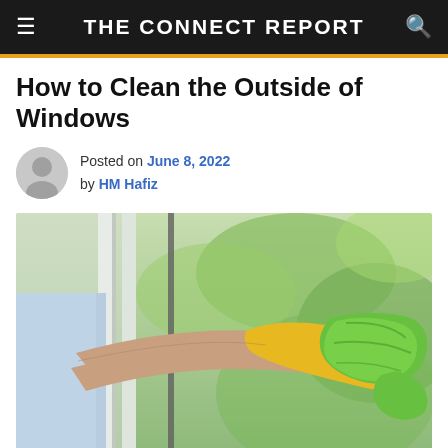THE CONNECT REPORT
How to Clean the Outside of Windows
Posted on June 8, 2022 by HM Hafiz
[Figure (photo): Person wearing a yellow rubber glove cleaning the outside of a window with a green cloth/microfiber rag, with blurred green foliage visible through the glass.]